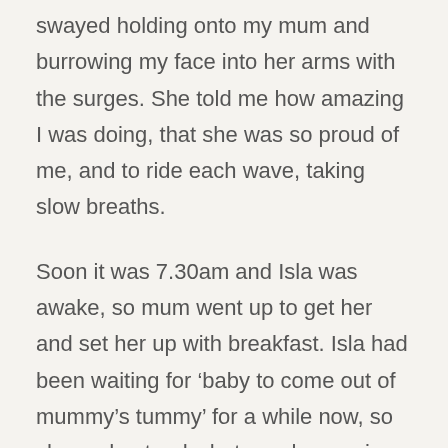swayed holding onto my mum and burrowing my face into her arms with the surges. She told me how amazing I was doing, that she was so proud of me, and to ride each wave, taking slow breaths.
Soon it was 7.30am and Isla was awake, so mum went up to get her and set her up with breakfast. Isla had been waiting for ‘baby to come out of mummy’s tummy’ for a while now, so she understood what was happening. Mike took over supporting me again, we went back into the ‘birth room’ (my yoga studio!) and my surges were